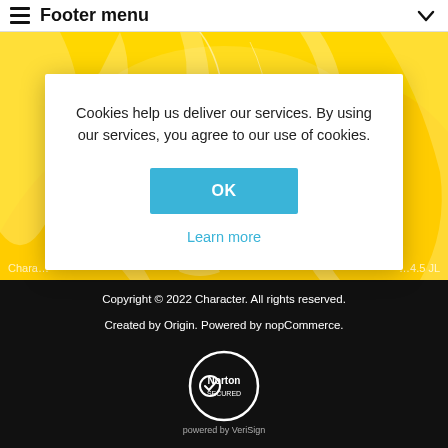Footer menu
[Figure (screenshot): Yellow abstract background with swirling flame-like shapes, product image area]
Cookies help us deliver our services. By using our services, you agree to our use of cookies.
OK
Learn more
Copyright © 2022 Character. All rights reserved.
Created by Origin. Powered by nopCommerce.
Norton SECURED powered by VeriSign